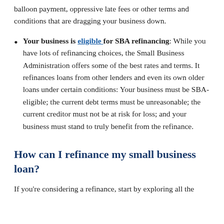balloon payment, oppressive late fees or other terms and conditions that are dragging your business down.
Your business is eligible for SBA refinancing: While you have lots of refinancing choices, the Small Business Administration offers some of the best rates and terms. It refinances loans from other lenders and even its own older loans under certain conditions: Your business must be SBA-eligible; the current debt terms must be unreasonable; the current creditor must not be at risk for loss; and your business must stand to truly benefit from the refinance.
How can I refinance my small business loan?
If you're considering a refinance, start by exploring all the